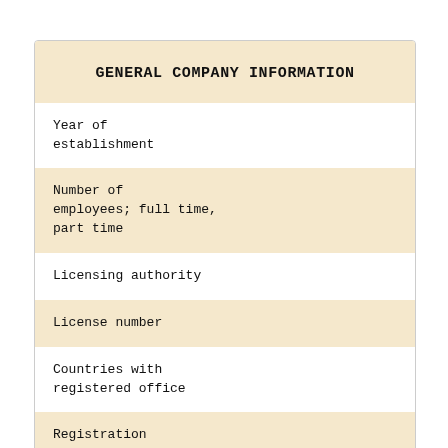GENERAL COMPANY INFORMATION
Year of establishment
Number of employees; full time, part time
Licensing authority
License number
Countries with registered office
Registration Certificate; please